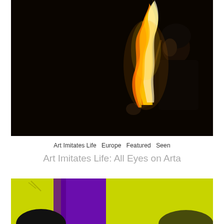[Figure (photo): A person dressed in black performing fire dancing/spinning against a dark background. The flames are bright orange and white, illuminating the scene.]
Art Imitates Life   Europe   Featured   Seen
Art Imitates Life: All Eyes on Arta
[Figure (photo): Partial view of a second photo showing abstract shapes in purple, yellow-green, and black — appears to be a stage or performance scene.]